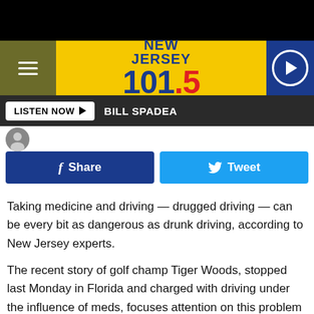[Figure (screenshot): Black top bar (cropped top of page)]
NEW JERSEY 101.5
LISTEN NOW  BILL SPADEA
[Figure (screenshot): Facebook Share and Twitter Tweet buttons]
Taking medicine and driving — drugged driving — can be every bit as dangerous as drunk driving, according to New Jersey experts.
The recent story of golf champ Tiger Woods, stopped last Monday in Florida and charged with driving under the influence of meds, focuses attention on this problem of driving drugged. Police video of Woods' traffic stop shows him admitting to the arresting officer that he was under the